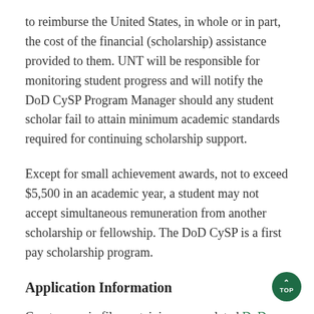to reimburse the United States, in whole or in part, the cost of the financial (scholarship) assistance provided to them. UNT will be responsible for monitoring student progress and will notify the DoD CySP Program Manager should any student scholar fail to attain minimum academic standards required for continuing scholarship support.
Except for small achievement awards, not to exceed $5,500 in an academic year, a student may not accept simultaneous remuneration from another scholarship or fellowship. The DoD CySP is a first pay scholarship program.
Application Information
Create one zip file containing a completed DoD Cyber Scholarship Program New Student Application and the supplemental materials listed within the application, all i…